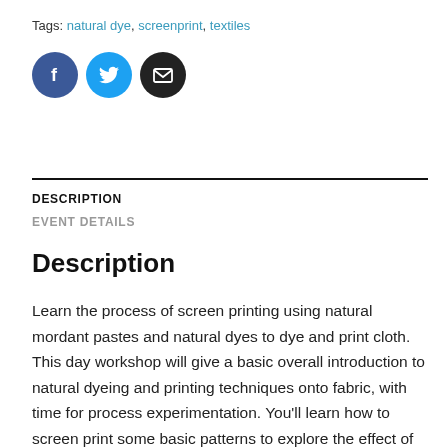Tags: natural dye, screenprint, textiles
[Figure (illustration): Three social media icon circles: Facebook (blue), Twitter (light blue), Email (black)]
DESCRIPTION
EVENT DETAILS
Description
Learn the process of screen printing using natural mordant pastes and natural dyes to dye and print cloth. This day workshop will give a basic overall introduction to natural dyeing and printing techniques onto fabric, with time for process experimentation. You'll learn how to screen print some basic patterns to explore the effect of mordant pastes